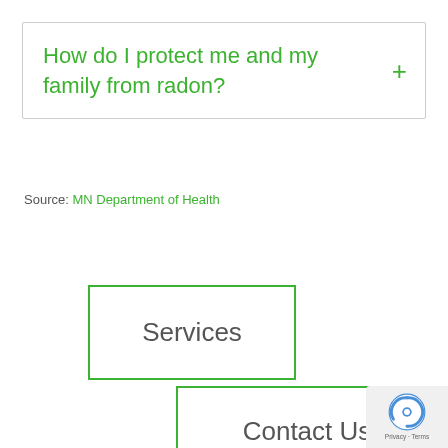How do I protect me and my family from radon?
Source: MN Department of Health
Services
Contact Us